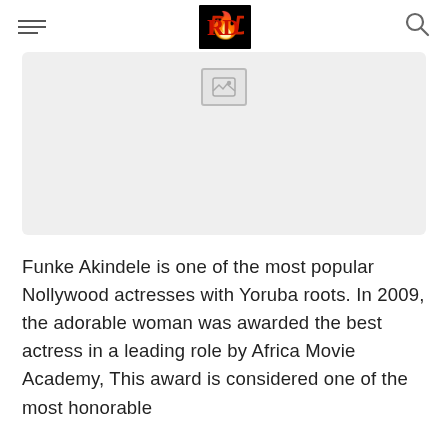[hamburger menu] [logo] [search]
[Figure (photo): A large light gray placeholder image area with a broken image icon at the top center]
Funke Akindele is one of the most popular Nollywood actresses with Yoruba roots. In 2009, the adorable woman was awarded the best actress in a leading role by Africa Movie Academy, This award is considered one of the most honorable